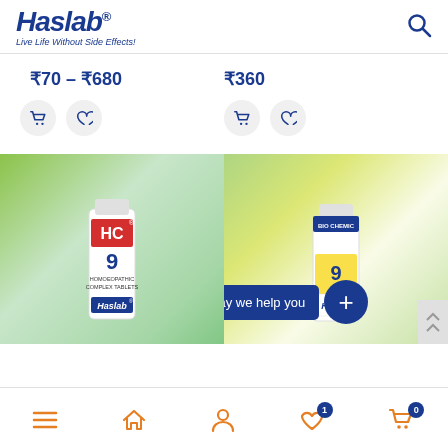[Figure (logo): Haslab logo with tagline 'Live Life Without Side Effects!' and search icon]
₹70 – ₹680
₹360
[Figure (photo): Haslab HC 9 Homoeopathic Complex Tablets bottle on wooden surface with green bokeh background]
[Figure (photo): Haslab Bio Chemic 9 tablet bottle on wooden surface with bamboo forest background, with 'How may we help you' chat overlay and plus button]
Bottom navigation bar with menu, home, account, wishlist (1), cart (0) icons